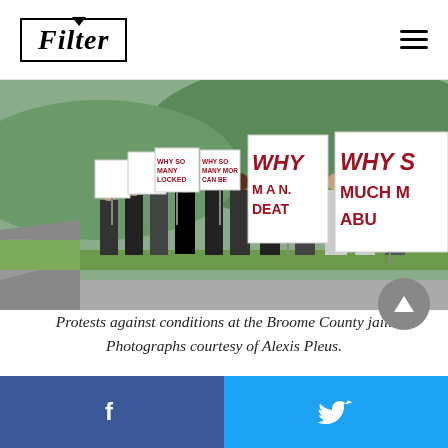Filter
[Figure (photo): Protesters standing along a roadside holding handwritten signs with messages including 'WHY SO MANY DEAD', 'WHY MAN MUCH', 'ABUSE', 'WHY SO MANY LOCKED UP', outside the Broome County jail.]
Protests against conditions at the Broome County jail. Photographs courtesy of Alexis Pleus.
[Figure (other): Social share bar with Facebook and Twitter buttons at the bottom of the page]